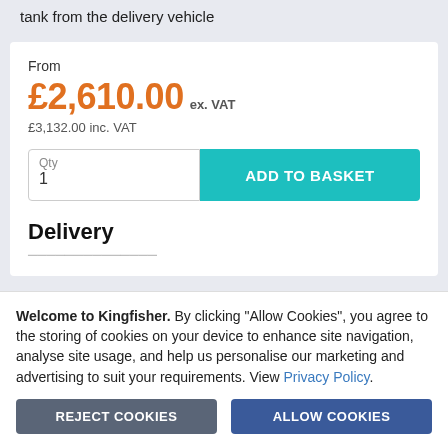tank from the delivery vehicle
From
£2,610.00 ex. VAT
£3,132.00 inc. VAT
Qty 1
ADD TO BASKET
Delivery
Welcome to Kingfisher. By clicking "Allow Cookies", you agree to the storing of cookies on your device to enhance site navigation, analyse site usage, and help us personalise our marketing and advertising to suit your requirements. View Privacy Policy.
REJECT COOKIES
ALLOW COOKIES